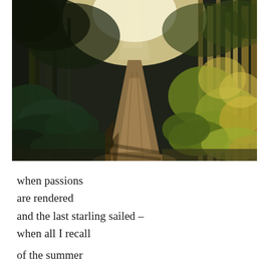[Figure (photo): A forest path stretching into the distance, with tall pine trees on either side, sunlight filtering through the canopy from above, green and golden foliage on the right, dappled shadows across the dirt trail.]
when passions
are rendered
and the last starling sailed –
when all I recall

of the summer